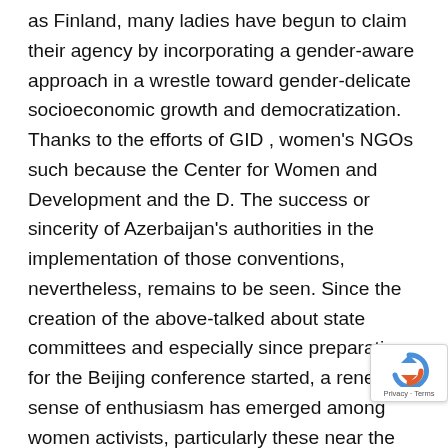as Finland, many ladies have begun to claim their agency by incorporating a gender-aware approach in a wrestle toward gender-delicate socioeconomic growth and democratization. Thanks to the efforts of GID , women's NGOs such because the Center for Women and Development and the D. The success or sincerity of Azerbaijan's authorities in the implementation of those conventions, nevertheless, remains to be seen. Since the creation of the above-talked about state committees and especially since preparation for the Beijing conference started, a renewed sense of enthusiasm has emerged among women activists, particularly these near the government. One of the constructive recent developments regarding women's NGOs has to do with the establishment of a Gender in Development unit in Azerbaijan in 1997 under the auspices of United Nations Development Programme. Under the